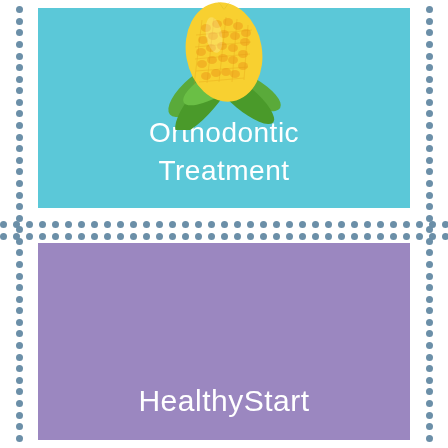[Figure (illustration): Illustration of a corn cob with yellow kernels and green leaves/husks, partially peeled, on a light teal/cyan background]
Orthodontic Treatment
HealthyStart